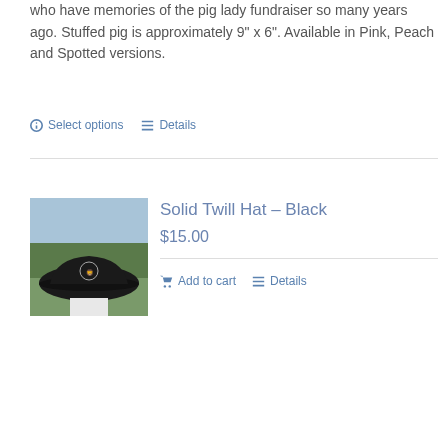who have memories of the pig lady fundraiser so many years ago. Stuffed pig is approximately 9" x 6". Available in Pink, Peach and Spotted versions.
Select options   Details
[Figure (photo): Black solid twill hat on a white display stand with trees and sky background]
Solid Twill Hat – Black
$15.00
Add to cart   Details